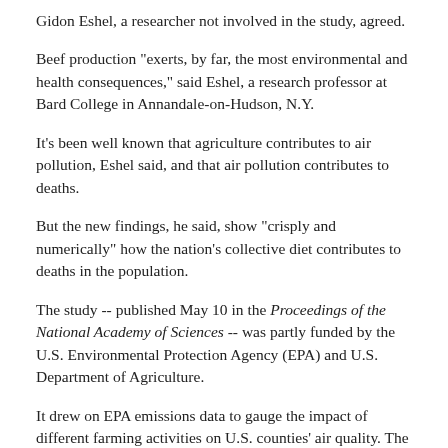Gidon Eshel, a researcher not involved in the study, agreed.
Beef production "exerts, by far, the most environmental and health consequences," said Eshel, a research professor at Bard College in Annandale-on-Hudson, N.Y.
It's been well known that agriculture contributes to air pollution, Eshel said, and that air pollution contributes to deaths.
But the new findings, he said, show "crisply and numerically" how the nation's collective diet contributes to deaths in the population.
The study -- published May 10 in the Proceedings of the National Academy of Sciences -- was partly funded by the U.S. Environmental Protection Agency (EPA) and U.S. Department of Agriculture.
It drew on EPA emissions data to gauge the impact of different farming activities on U.S. counties' air quality. The researchers then used statistical models to estimate the effects of fine-particle pollution, from various agriculture